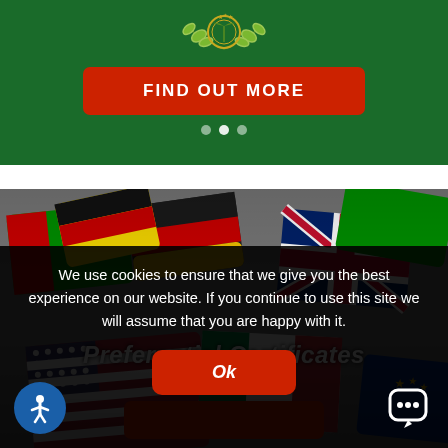[Figure (screenshot): Green banner with decorative emblem (olive branches/leaves) at top and a red 'FIND OUT MORE' button, with white navigation dots below]
[Figure (photo): Photo of various country flag tiles/blocks arranged together (German, UK, American, Italian, EU flags visible) with text 'Preferential Certificates' overlaid in white italic bold font, and a partially visible red button at the bottom]
We use cookies to ensure that we give you the best experience on our website. If you continue to use this site we will assume that you are happy with it.
Ok